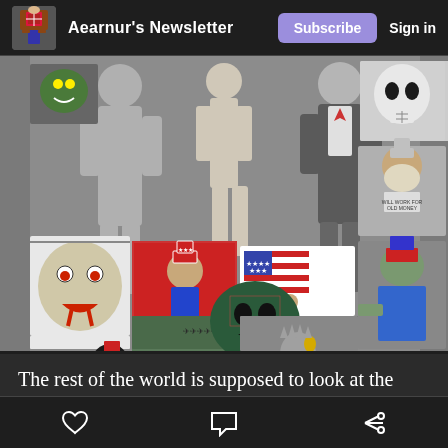Aearnur's Newsletter | Subscribe | Sign in
[Figure (illustration): Collage of political satire illustrations and artwork depicting anti-consumerism and anti-imperialism themes, including Uncle Sam imagery, American flag imagery, protest art, and various political cartoons]
The rest of the world is supposed to look at the social, political and financial systems of the western world with envy.
Heart icon | Comment icon | Share icon